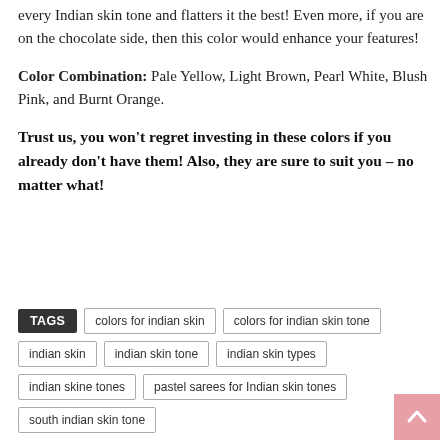every Indian skin tone and flatters it the best! Even more, if you are on the chocolate side, then this color would enhance your features!
Color Combination: Pale Yellow, Light Brown, Pearl White, Blush Pink, and Burnt Orange.
Trust us, you won't regret investing in these colors if you already don't have them! Also, they are sure to suit you – no matter what!
TAGS  colors for indian skin  colors for indian skin tone  indian skin  indian skin tone  indian skin types  indian skine tones  pastel sarees for Indian skin tones  south indian skin tone